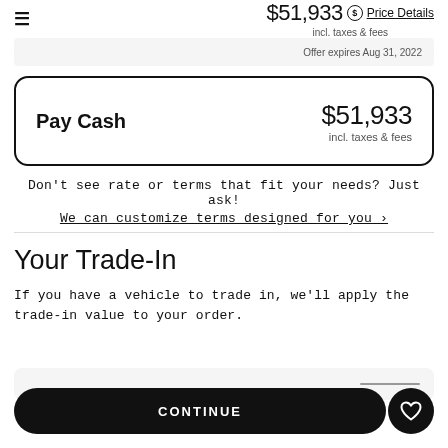≡  $51,933 incl. taxes & fees  $ Price Details
Offer expires Aug 31, 2022
| Pay Cash | $51,933 incl. taxes & fees |
| --- | --- |
Don't see rate or terms that fit your needs? Just ask!
We can customize terms designed for you ›
Your Trade-In
If you have a vehicle to trade in, we'll apply the trade-in value to your order.
CONTINUE